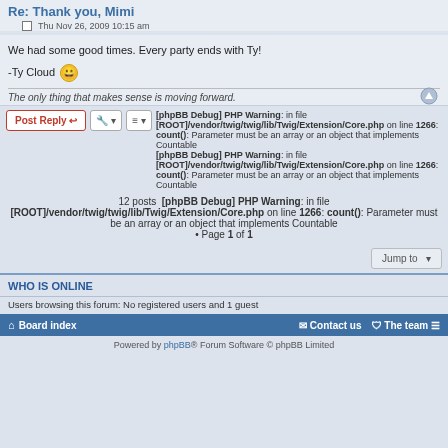Re: Thank you, Mimi
Thu Nov 26, 2009 10:15 am
We had some good times. Every party ends with Ty!
-Ty Cloud 😀
The only thing that makes sense is moving forward.
[phpBB Debug] PHP Warning: in file [ROOT]/vendor/twig/twig/lib/Twig/Extension/Core.php on line 1266: count(): Parameter must be an array or an object that implements Countable [phpBB Debug] PHP Warning: in file [ROOT]/vendor/twig/twig/lib/Twig/Extension/Core.php on line 1266: count(): Parameter must be an array or an object that implements Countable 12 posts [phpBB Debug] PHP Warning: in file [ROOT]/vendor/twig/twig/lib/Twig/Extension/Core.php on line 1266: count(): Parameter must be an array or an object that implements Countable • Page 1 of 1
Jump to
WHO IS ONLINE
Users browsing this forum: No registered users and 1 guest
Board index   Contact us   The team
Powered by phpBB® Forum Software © phpBB Limited